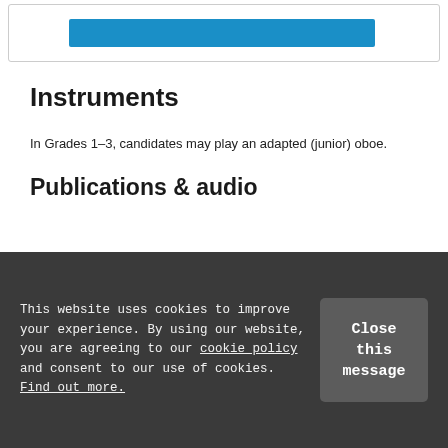[Figure (screenshot): Top portion of a webpage showing a bordered box with a blue button inside]
Instruments
In Grades 1–3, candidates may play an adapted (junior) oboe.
Publications & audio
[Figure (screenshot): Red banner with green circle icon showing audio downloads text and sheet music thumbnail on right]
This website uses cookies to improve your experience. By using our website, you are agreeing to our cookie policy and consent to our use of cookies. Find out more.
Close this message